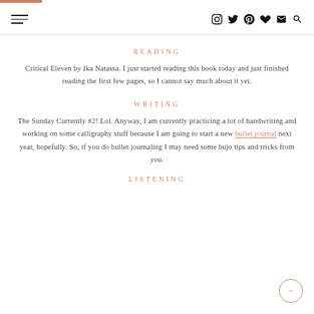Navigation header with hamburger menu and social icons (Instagram, Twitter, Pinterest, heart, email, search)
READING
Critical Eleven by Ika Natassa. I just started reading this book today and just finished reading the first few pages, so I cannot say much about it yet.
WRITING
The Sunday Currently #2! Lol. Anyway, I am currently practicing a lot of handwriting and working on some calligraphy stuff because I am going to start a new bullet journal next year, hopefully. So, if you do bullet journaling I may need some bujo tips and tricks from you.
LISTENING